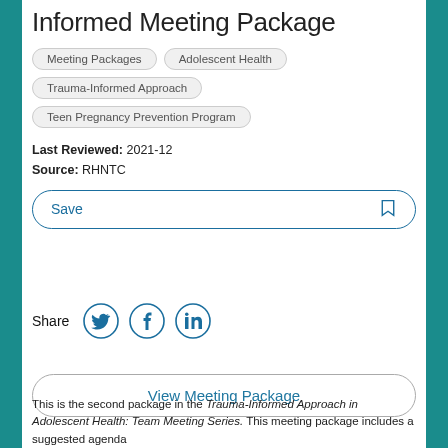Informed Meeting Package
Meeting Packages
Adolescent Health
Trauma-Informed Approach
Teen Pregnancy Prevention Program
Last Reviewed: 2021-12
Source: RHNTC
[Figure (other): Save button with bookmark icon]
[Figure (other): Share row with Twitter, Facebook, LinkedIn icons]
[Figure (other): View Meeting Package button]
This is the second package in the Trauma-Informed Approach in Adolescent Health: Team Meeting Series. This meeting package includes a suggested agenda